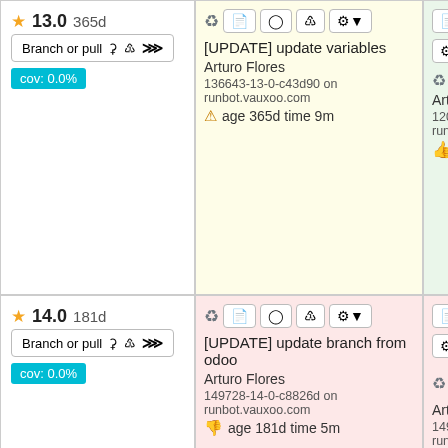13.0 365d — Branch or pull — cov: 0.0%
[UPDATE] update variables — Arturo Flores — 136643-13-0-c43d90 on runbot.vauxoo.com — age 365d time 9m
[UPDATE] update variables — Arturo Flores — 120456-13-0-c43d90 on runbot.vauxoo.com — age 547d time 8m
14.0 181d — Branch or pull — cov: 0.0%
[UPDATE] update branch from odoo — Arturo Flores — 149728-14-0-c8826d on runbot.vauxoo.com — age 181d time 5m
[UPDATE] update branch from odoo — Arturo Flores — 149727-14-0-c8826d on runbot.vauxoo.com